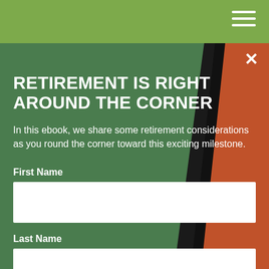[Figure (screenshot): Light green header bar with hamburger menu icon (three white horizontal lines) in the top right corner]
RETIREMENT IS RIGHT AROUND THE CORNER
In this ebook, we share some retirement considerations as you round the corner toward this exciting milestone.
First Name
Last Name